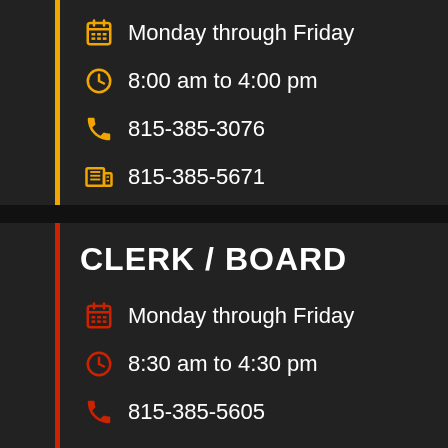Monday through Friday
8:00 am to 4:00 pm
815-385-3076
815-385-5671
CLERK / BOARD
Monday through Friday
8:30 am to 4:30 pm
815-385-5605
815-385-5671